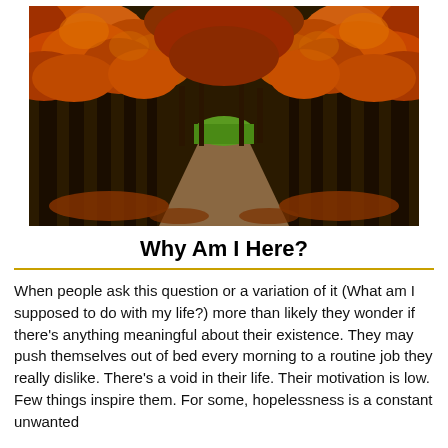[Figure (photo): Autumn tree-lined road with orange and red foliage forming a canopy overhead, with green grass visible at the end of the path.]
Why Am I Here?
When people ask this question or a variation of it (What am I supposed to do with my life?) more than likely they wonder if there's anything meaningful about their existence. They may push themselves out of bed every morning to a routine job they really dislike. There's a void in their life. Their motivation is low. Few things inspire them. For some, hopelessness is a constant unwanted